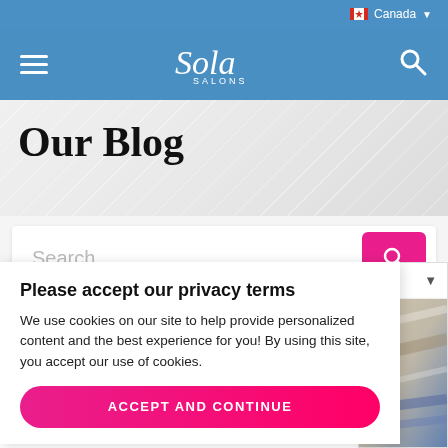Canada (dropdown)
[Figure (screenshot): Sola Salons navigation bar with hamburger menu, Sola Salons script logo, and search icon on blue background]
Our Blog
Search...
Please accept our privacy terms
We use cookies on our site to help provide personalized content and the best experience for you! By using this site, you accept our use of cookies.
ACCEPT AND CONTINUE